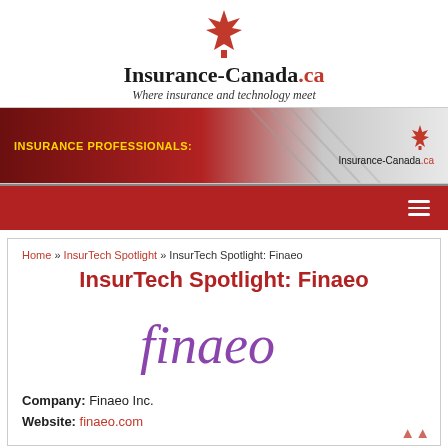[Figure (logo): Insurance-Canada.ca logo with red maple leaf and tagline 'Where insurance and technology meet']
[Figure (photo): Insurance Professionals banner ad with red/grey gradient background and Insurance-Canada.ca maple leaf logo on right]
[Figure (other): Dark red navigation bar with hamburger menu icon on the right]
Home » InsurTech Spotlight » InsurTech Spotlight: Finaeo
InsurTech Spotlight: Finaeo
[Figure (logo): Finaeo company logo in purple cursive script]
Company: Finaeo Inc.
Website: finaeo.com